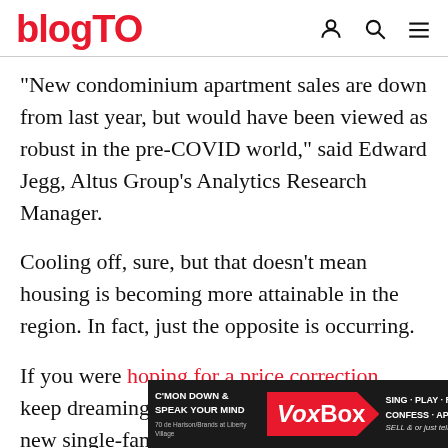blogTO
"New condominium apartment sales are down from last year, but would have been viewed as robust in the pre-COVID world," said Edward Jegg, Altus Group's Analytics Research Manager.
Cooling off, sure, but that doesn't mean housing is becoming more attainable in the region. In fact, just the opposite is occurring.
If you were hoping for a price correction, keep dreaming, as the benchmark price for new single-family homes jumped [28 p...] to $1,787,196, while condos clim[bed 42 per cent to
[Figure (other): Advertisement overlay: VoxBox ad with text 'C'MON DOWN & SPEAK YOUR MIND', VoxBox logo, 'SING·PLAY·RANT CONFESS·APOLOGIZE SELL & or just tell us a good joke!']